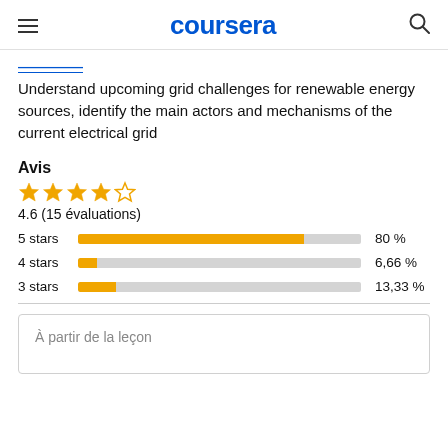coursera
Understand upcoming grid challenges for renewable energy sources, identify the main actors and mechanisms of the current electrical grid
Avis
[Figure (bar-chart): Ratings distribution]
À partir de la leçon